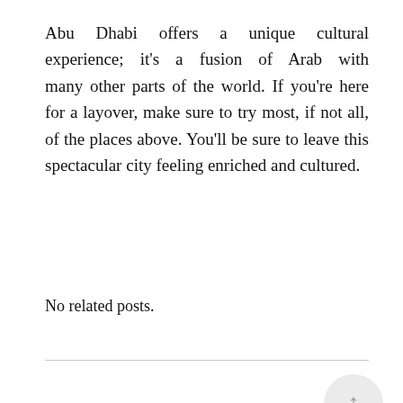Abu Dhabi offers a unique cultural experience; it's a fusion of Arab with many other parts of the world. If you're here for a layover, make sure to try most, if not all, of the places above. You'll be sure to leave this spectacular city feeling enriched and cultured.
No related posts.
POST A COMMENT
Write your comment here...